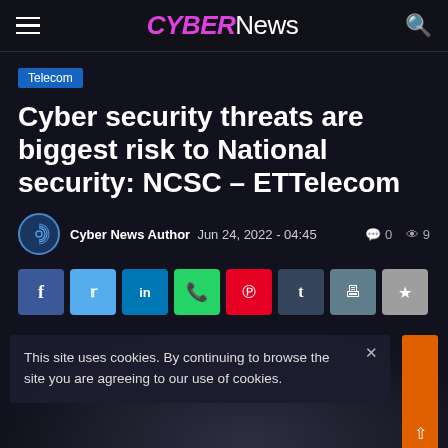CYBERNews
Telecom
Cyber security threats are biggest risk to National security: NCSC – ETTelecom
Cyber News Author  Jun 24, 2022 - 04:45    0  9
[Figure (other): Social share buttons: Facebook, Twitter, LinkedIn, WhatsApp, Pinterest, Tumblr, Print, Bookmark]
This site uses cookies. By continuing to browse the site you are agreeing to our use of cookies.